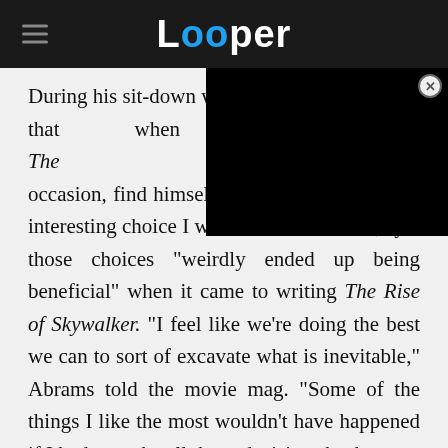Looper
[Figure (screenshot): Black video player overlay in upper right corner with close button]
During his sit-down with Em[pire], that when he watched The [Last Jedi, he would, on] occasion, find himself thinking, "Oh, that's an interesting choice I would not have made," yet those choices "weirdly ended up being beneficial" when it came to writing The Rise of Skywalker. "I feel like we're doing the best we can to sort of excavate what is inevitable," Abrams told the movie mag. "Some of the things I like the most wouldn't have happened if I had to make all those decisions back